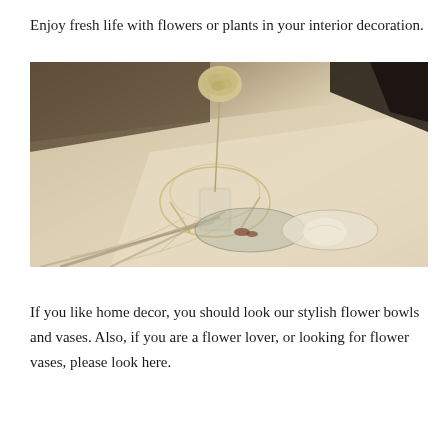Enjoy fresh life with flowers or plants in your interior decoration.
[Figure (photo): A dried yellow flower in a transparent glass vase with wire structure on a light-colored table surface, with a glass bowl and plates in sunlight casting shadows.]
If you like home decor, you should look our stylish flower bowls and vases. Also, if you are a flower lover, or looking for flower vases, please look here.